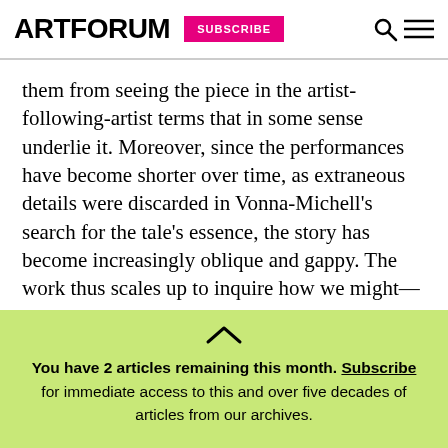ARTFORUM  SUBSCRIBE
them from seeing the piece in the artist-following-artist terms that in some sense underlie it. Moreover, since the performances have become shorter over time, as extraneous details were discarded in Vonna-Michell's search for the tale's essence, the story has become increasingly oblique and gappy. The work thus scales up to inquire how we might—or might not—manage to navigate the world using what sketchy facts we happen upon. In this way, Vonna-
You have 2 articles remaining this month. Subscribe for immediate access to this and over five decades of articles from our archives.